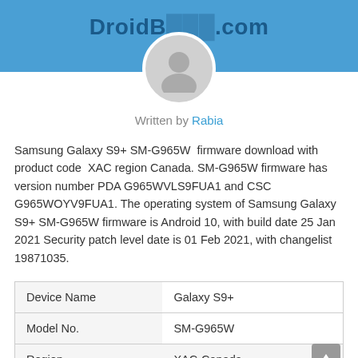DroidBucket.com
Written by Rabia
Samsung Galaxy S9+ SM-G965W  firmware download with product code  XAC region Canada. SM-G965W firmware has version number PDA G965WVLS9FUA1 and CSC G965WOYV9FUA1. The operating system of Samsung Galaxy S9+ SM-G965W firmware is Android 10, with build date 25 Jan 2021 Security patch level date is 01 Feb 2021, with changelist 19871035.
| Device Name | Galaxy S9+ |
| --- | --- |
| Model No. | SM-G965W |
| Region | XAC-Canada |